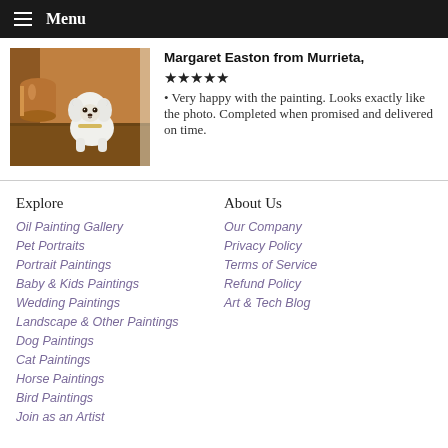Menu
[Figure (photo): Oil painting of a small white fluffy dog (likely Bichon Frise) sitting on a wooden floor with a copper bucket in the background, warm brown tones]
Margaret Easton from Murrieta, ★★★★★ • Very happy with the painting. Looks exactly like the photo. Completed when promised and delivered on time.
Explore
About Us
Oil Painting Gallery
Our Company
Pet Portraits
Privacy Policy
Portrait Paintings
Terms of Service
Baby & Kids Paintings
Refund Policy
Wedding Paintings
Art & Tech Blog
Landscape & Other Paintings
Dog Paintings
Cat Paintings
Horse Paintings
Bird Paintings
Join as an Artist